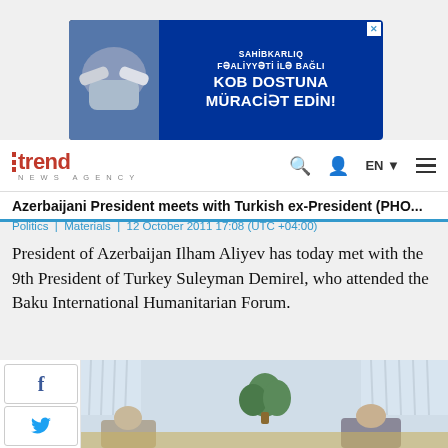[Figure (other): Advertisement banner with blue background: 'SAHİBKARLIQ FƏALİYYƏTİ İLƏ BAĞLI KOB DOSTUNA MÜRACİƏT EDİN!' with handshake image on the left]
[Figure (logo): Trend News Agency logo with red vertical bars and text]
Azerbaijani President meets with Turkish ex-President (PHO...
Politics | Materials | 12 October 2011 17:08 (UTC +04:00)
President of Azerbaijan Ilham Aliyev has today met with the 9th President of Turkey Suleyman Demirel, who attended the Baku International Humanitarian Forum.
[Figure (photo): Photo of meeting between Azerbaijani President and Turkish ex-President, showing two people seated at a formal meeting with curtains and a plant in the background]